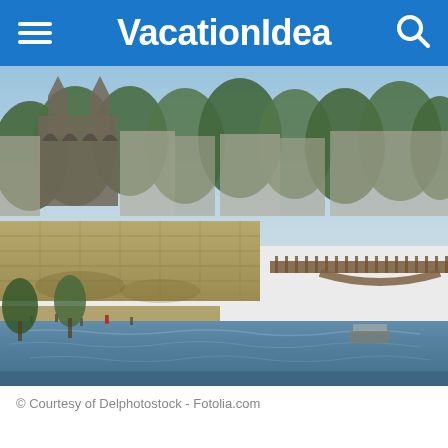VacationIdea
[Figure (photo): Scenic view of the Seine River in Paris with Notre-Dame Cathedral in the background, stone quays, trees lining the riverbank, and a pedestrian bridge crossing the river]
© Courtesy of Delphotostock - Fotolia.com